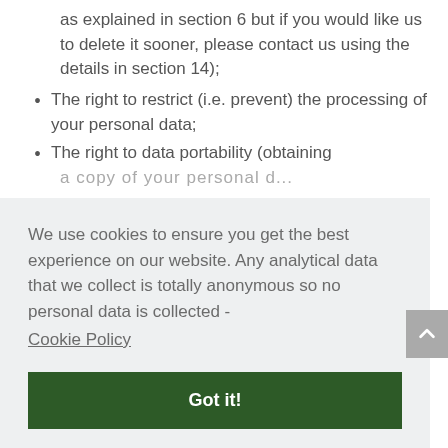as explained in section 6 but if you would like us to delete it sooner, please contact us using the details in section 14);
The right to restrict (i.e. prevent) the processing of your personal data;
The right to data portability (obtaining a copy of your personal data...
We use cookies to ensure you get the best experience on our website. Any analytical data that we collect is totally anonymous so no personal data is collected -
Cookie Policy
Got it!
tion 14 and we will need to set t...